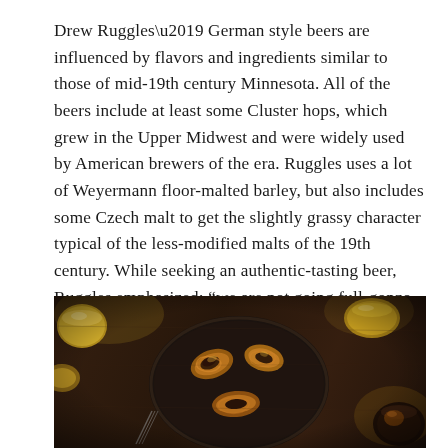Drew Ruggles' German style beers are influenced by flavors and ingredients similar to those of mid-19th century Minnesota. All of the beers include at least some Cluster hops, which grew in the Upper Midwest and were widely used by American brewers of the era. Ruggles uses a lot of Weyermann floor-malted barley, but also includes some Czech malt to get the slightly grassy character typical of the less-modified malts of the 19th century. While seeking an authentic-tasting beer, Ruggles emphasized: “we are not going full-gonzo 1850. We want to provide a semblance of history but also to accommodate modern tastes.” The custom-built brewhouse is located in a new building to the rear of the brewery.
[Figure (photo): Overhead view of food on a dark plate on a wooden table with glasses of beer, shot in dim warm lighting.]